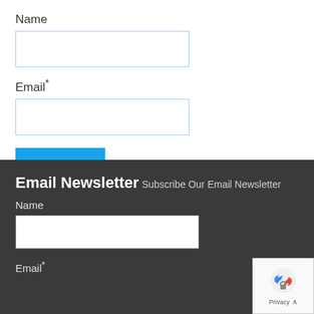Name
[Figure (screenshot): Empty text input field for Name]
Email*
[Figure (screenshot): Empty text input field for Email]
Submit
Email Newsletter
Subscribe Our Email Newsletter
Name
[Figure (screenshot): Empty text input field for Name in dark footer]
Email*
[Figure (screenshot): reCAPTCHA Privacy widget]